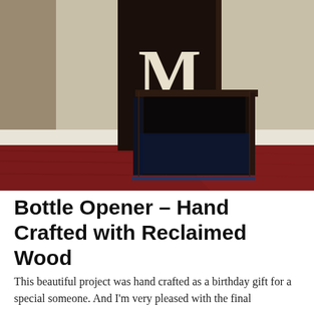[Figure (photo): A dark-stained wooden box/bottle opener with a decorative panel showing the letter M, sitting on a reddish hardwood floor against a cream-colored wall with white baseboard.]
Bottle Opener – Hand Crafted with Reclaimed Wood
This beautiful project was hand crafted as a birthday gift for a special someone. And I'm very pleased with the final